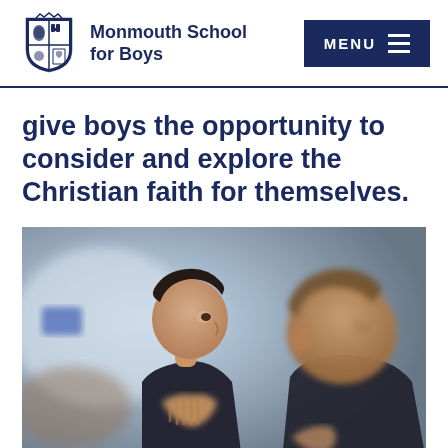Monmouth School for Boys
give boys the opportunity to consider and explore the Christian faith for themselves.
[Figure (photo): Two school-age boys in dark uniforms praying or listening attentively, hands clasped, with blurred background suggesting a chapel or classroom setting.]